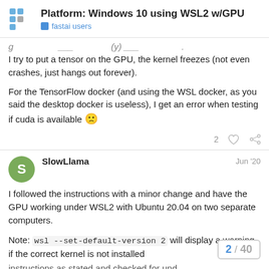Platform: Windows 10 using WSL2 w/GPU — fastai users
I try to put a tensor on the GPU, the kernel freezes (not even crashes, just hangs out forever).
For the TensorFlow docker (and using the WSL docker, as you said the desktop docker is useless), I get an error when testing if cuda is available 🙁
SlowLlama  Jun '20
I followed the instructions with a minor change and have the GPU working under WSL2 with Ubuntu 20.04 on two separate computers.
Note: wsl --set-default-version 2 will display a warning if the correct kernel is not installed instructions as stated and checked for und
2 / 40